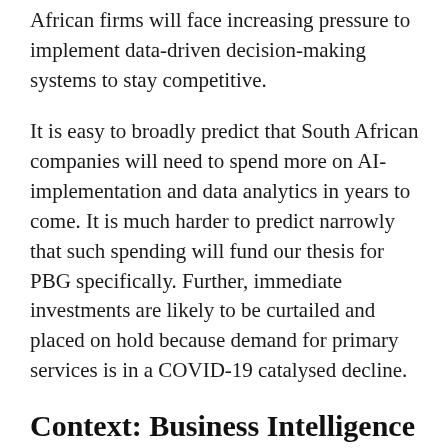African firms will face increasing pressure to implement data-driven decision-making systems to stay competitive.
It is easy to broadly predict that South African companies will need to spend more on AI-implementation and data analytics in years to come. It is much harder to predict narrowly that such spending will fund our thesis for PBG specifically. Further, immediate investments are likely to be curtailed and placed on hold because demand for primary services is in a COVID-19 catalysed decline.
Context: Business Intelligence & Cloud Adoption
Essentially, BI uses various methodologies, tools,